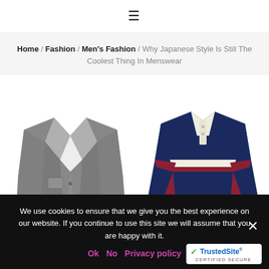≡
Home / Fashion / Men's Fashion / Why Japanese Style Is Still The Coolest Thing In Menswear
[Figure (photo): Two clothing items: a grey herringbone blazer/sport coat on the left, and a navy/burgundy/white striped rugby polo shirt on the right, displayed on a white background.]
We use cookies to ensure that we give you the best experience on our website. If you continue to use this site we will assume that you are happy with it.
Ok   No   Privacy policy